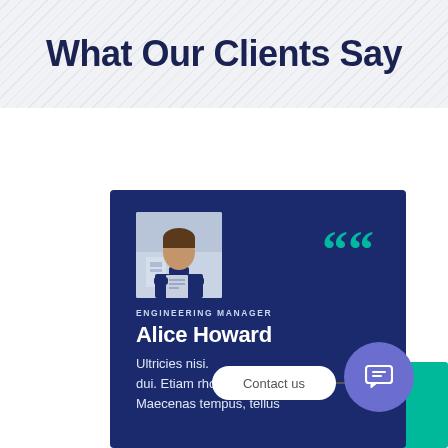What Our Clients Say
[Figure (photo): Testimonial card with photo of Alice Howard, Engineering Manager, on dark blue background with quote marks and testimonial text]
ENGINEERING MANAGER
Alice Howard
Ultricies nisi. dui. Etiam rhoncus. Maecenas tempus, tellus
Contact us